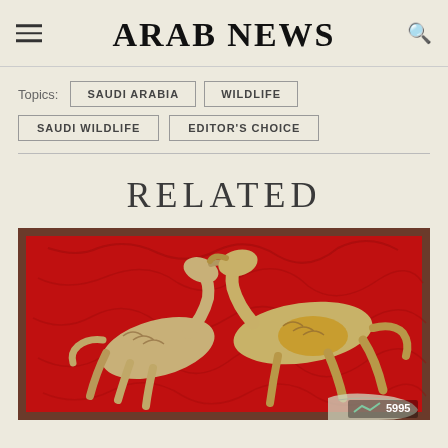ARAB NEWS
Topics: SAUDI ARABIA  WILDLIFE  SAUDI WILDLIFE  EDITOR'S CHOICE
RELATED
[Figure (photo): Two mummified or dried animal carcasses (possibly baby camels or goats) displayed on a red fabric surface inside a wooden frame or case. A plastic bag is visible in the lower right corner. A watermark '5995' appears at the bottom right.]